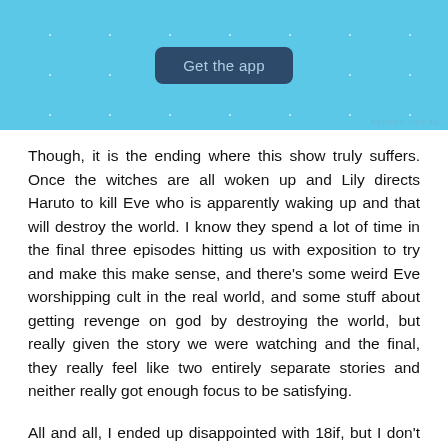[Figure (screenshot): App advertisement banner with sky-blue background, star/sparkle decorations, and a dark blue 'Get the app' button in the center. 'REPORT THIS AD' text appears in small print at the bottom right.]
Though, it is the ending where this show truly suffers. Once the witches are all woken up and Lily directs Haruto to kill Eve who is apparently waking up and that will destroy the world. I know they spend a lot of time in the final three episodes hitting us with exposition to try and make this make sense, and there’s some weird Eve worshipping cult in the real world, and some stuff about getting revenge on god by destroying the world, but really given the story we were watching and the final, they really feel like two entirely separate stories and neither really got enough focus to be satisfying.
All and all, I ended up disappointed with 18if, but I don’t regret watching it. For all its flaws, it was still a